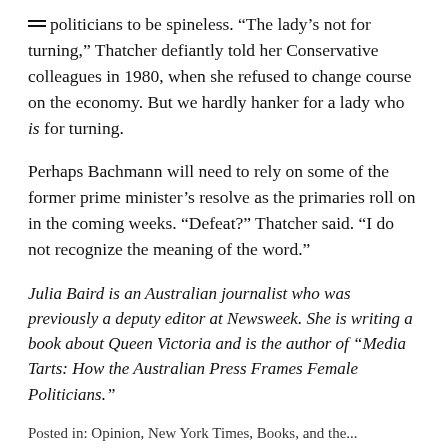politicians to be spineless. “The lady’s not for turning,” Thatcher defiantly told her Conservative colleagues in 1980, when she refused to change course on the economy. But we hardly hanker for a lady who is for turning.
Perhaps Bachmann will need to rely on some of the former prime minister’s resolve as the primaries roll on in the coming weeks. “Defeat?” Thatcher said. “I do not recognize the meaning of the word.”
Julia Baird is an Australian journalist who was previously a deputy editor at Newsweek. She is writing a book about Queen Victoria and is the author of “Media Tarts: How the Australian Press Frames Female Politicians.”
Posted in: Opinion, New York Times, Books, and the...